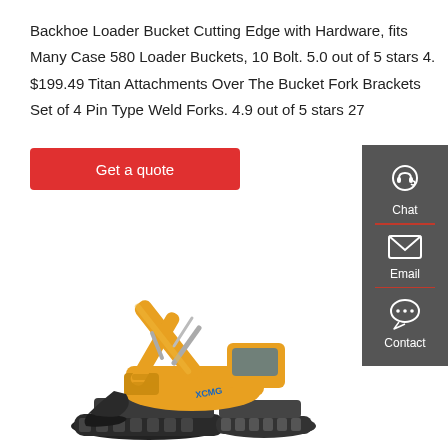Backhoe Loader Bucket Cutting Edge with Hardware, fits Many Case 580 Loader Buckets, 10 Bolt. 5.0 out of 5 stars 4. $199.49 Titan Attachments Over The Bucket Fork Brackets Set of 4 Pin Type Weld Forks. 4.9 out of 5 stars 27
Get a quote
[Figure (illustration): Sidebar with chat, email, and contact icons on dark grey background]
[Figure (photo): Yellow XCMG excavator on white background]